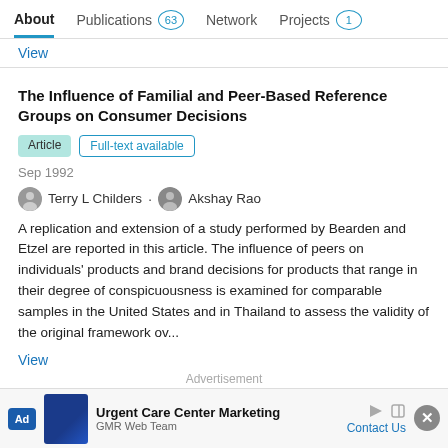About  Publications 63  Network  Projects 1
View
The Influence of Familial and Peer-Based Reference Groups on Consumer Decisions
Article  Full-text available
Sep 1992
Terry L Childers · Akshay Rao
A replication and extension of a study performed by Bearden and Etzel are reported in this article. The influence of peers on individuals' products and brand decisions for products that range in their degree of conspicuousness is examined for comparable samples in the United States and in Thailand to assess the validity of the original framework ov...
View
Advertisement
Ad  Urgent Care Center Marketing  GMR Web Team  Contact Us